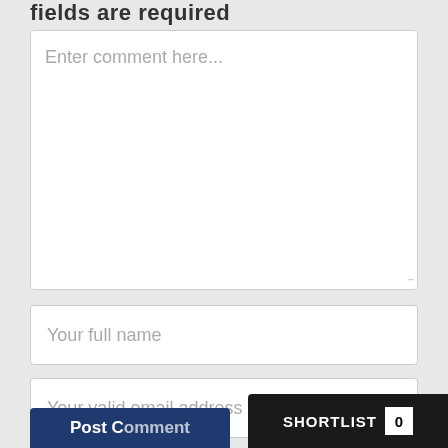fields are required
[Figure (screenshot): A web form with a large textarea with placeholder text 'Enter comment here...', a text input with placeholder 'Your full name', an email input with placeholder 'Your valid email address', a dark navy Post Comment button at bottom left, and a black Shortlist bar with count 0 at bottom right.]